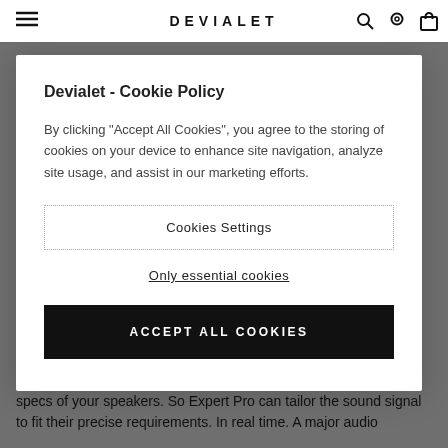DEVIALET
Devialet - Cookie Policy
By clicking “Accept All Cookies”, you agree to the storing of cookies on your device to enhance site navigation, analyze site usage, and assist in our marketing efforts.
Cookies Settings
Only essential cookies
ACCEPT ALL COOKIES
200/2
SAM® Speaker Active Matching works by recognizing the exact specs of your speakers. So Expert Pro can tailor the sound signal to fit their precise requirements. In real time. A major audio